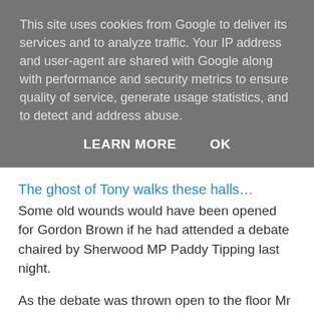This site uses cookies from Google to deliver its services and to analyze traffic. Your IP address and user-agent are shared with Google along with performance and security metrics to ensure quality of service, generate usage statistics, and to detect and address abuse.
LEARN MORE   OK
The ghost of Tony walks these halls…
Some old wounds would have been opened for Gordon Brown if he had attended a debate chaired by Sherwood MP Paddy Tipping last night.
As the debate was thrown open to the floor Mr Tipping pointed at the man he had chosen to speak next.
But as the microphone worked its way to him, another delegate sprang up, intercepted the microphone and started talking.
When the next person then came to speak Mr Tipping